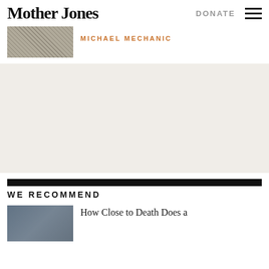Mother Jones
DONATE
[Figure (photo): Partial photo visible at top of page, texture/pattern image]
MICHAEL MECHANIC
[Figure (other): Advertisement/empty area with beige background]
WE RECOMMEND
[Figure (photo): Photo of people, partially visible at bottom of page]
How Close to Death Does a